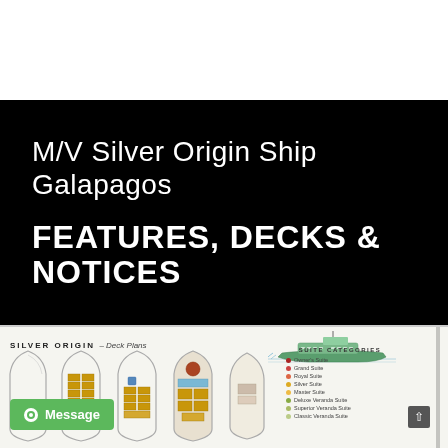M/V Silver Origin Ship Galapagos
FEATURES, DECKS & NOTICES
[Figure (engineering-diagram): Silver Origin Deck Plans showing multiple deck layout outlines of the ship from above, with a side-profile illustration of the ship in the upper right. Suite categories legend on the right side listing: Owner's Suite, Grand Suite, Royal Suite, Silver Suite, Master Suite, Deluxe Veranda Suite, Superior Veranda Suite, Classic Veranda Suite.]
SILVER ORIGIN  Deck Plans